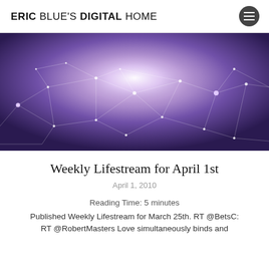ERIC BLUE'S DIGITAL HOME
[Figure (illustration): Abstract purple network/constellation background image with glowing nodes connected by white lines on a dark purple gradient background]
Weekly Lifestream for April 1st
April 1, 2010
Reading Time: 5 minutes
Published Weekly Lifestream for March 25th. RT @BetsC: RT @RobertMasters Love simultaneously binds and